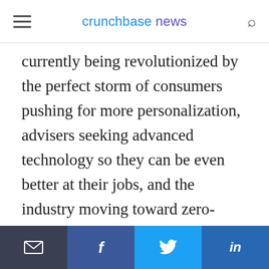crunchbase news
currently being revolutionized by the perfect storm of consumers pushing for more personalization, advisers seeking advanced technology so they can be even better at their jobs, and the industry moving toward zero-commission trades. This creates an opportunity to rethink decades of institutional wisdom and puts them in a prime position to be the central nervous system of the wealth
Email | Facebook | Twitter | LinkedIn